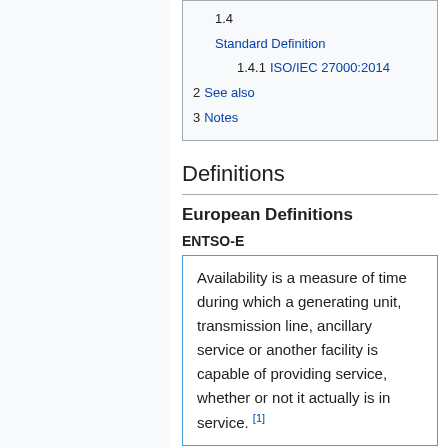1.4 Standard Definition
1.4.1 ISO/IEC 27000:2014
2 See also
3 Notes
Definitions
European Definitions
ENTSO-E
Availability is a measure of time during which a generating unit, transmission line, ancillary service or another facility is capable of providing service, whether or not it actually is in service. [1]